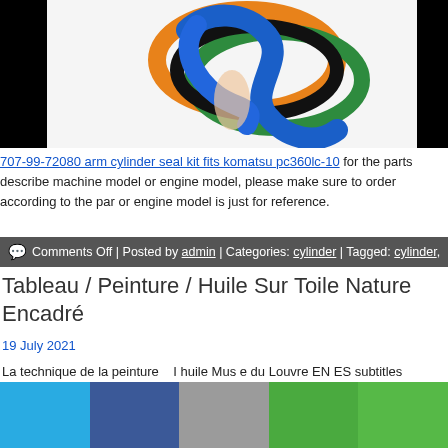[Figure (photo): Photo of colorful rubber rings/seals (blue, orange, green, black) being held, against white background, with black borders on sides]
707-99-72080 arm cylinder seal kit fits komatsu pc360lc-10 for the parts described machine model or engine model, please make sure to order according to the part or engine model is just for reference.
💬 Comments Off | Posted by admin | Categories: cylinder | Tagged: cylinder,
Tableau / Peinture / Huile Sur Toile Nature Encadré
19 July 2021
La technique de la peinture   I huile Mus e du Louvre EN ES subtitles
[Figure (screenshot): YouTube video thumbnail showing La technique de la peintur... with Mona Lisa icon and three-dot menu, dark background with hand painting]